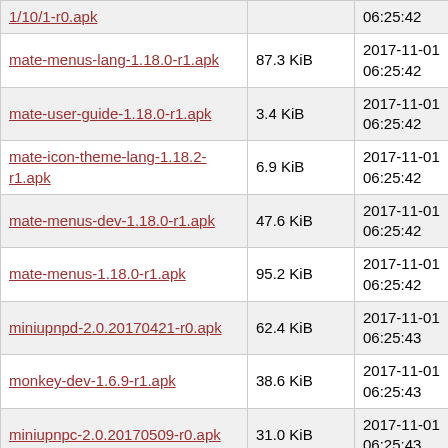| Name | Size | Date |
| --- | --- | --- |
| mate-menus-lang-1.18.0-r1.apk (partial top) |  | 06:25:42 (partial) |
| mate-menus-lang-1.18.0-r1.apk | 87.3 KiB | 2017-11-01 06:25:42 |
| mate-user-guide-1.18.0-r1.apk | 3.4 KiB | 2017-11-01 06:25:42 |
| mate-icon-theme-lang-1.18.2-r1.apk | 6.9 KiB | 2017-11-01 06:25:42 |
| mate-menus-dev-1.18.0-r1.apk | 47.6 KiB | 2017-11-01 06:25:42 |
| mate-menus-1.18.0-r1.apk | 95.2 KiB | 2017-11-01 06:25:42 |
| miniupnpd-2.0.20170421-r0.apk | 62.4 KiB | 2017-11-01 06:25:43 |
| monkey-dev-1.6.9-r1.apk | 38.6 KiB | 2017-11-01 06:25:43 |
| miniupnpc-2.0.20170509-r0.apk | 31.0 KiB | 2017-11-01 06:25:43 |
| mozo-doc-1.18.0-r2.apk | 2.0 KiB | 2017-11-01 06:25:43 |
| mpc-0.28-r0.apk | 26.0 KiB | 2017-11-01 06:25:43 |
| msgpack-c-2.0.0-r1.apk | 10.8 KiB | 2017-11-01 06:25:43 |